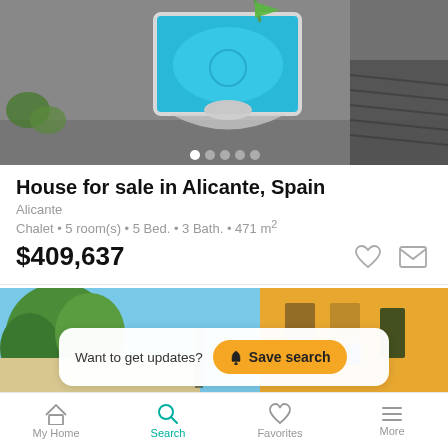[Figure (photo): Aerial view of a swimming pool with grey stone/tile surroundings on a sunny day]
House for sale in Alicante, Spain
Alicante
Chalet • 5 room(s) • 5 Bed. • 3 Bath. • 471 m²
$409,637
[Figure (photo): Exterior photo of a yellow building with trees and blue sky, partially visible]
Want to get updates?  Save search
My Home  Search  Favorites  More